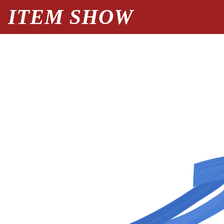ITEM SHOW
[Figure (photo): Partial view of a blue fabric or textile object (appears to be a belt or strap with woven texture) photographed against a white background, visible in the lower-right corner of the page.]